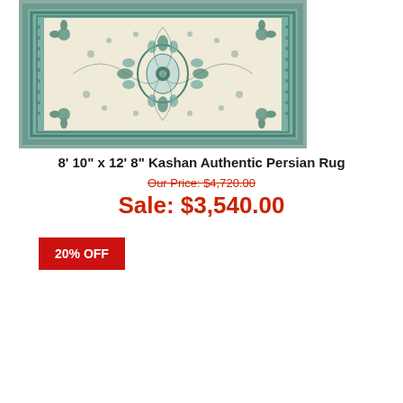[Figure (photo): A cream/beige Kashan authentic Persian rug with intricate floral and medallion patterns, teal/blue-green border, displayed from overhead.]
8' 10" x 12' 8" Kashan Authentic Persian Rug
Our Price: $4,720.00
Sale: $3,540.00
20% OFF